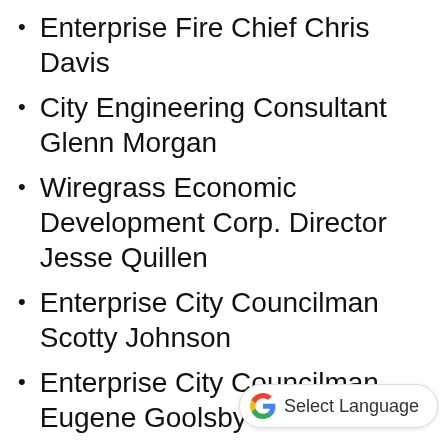Enterprise Fire Chief Chris Davis
City Engineering Consultant Glenn Morgan
Wiregrass Economic Development Corp. Director Jesse Quillen
Enterprise City Councilman Scotty Johnson
Enterprise City Councilman Eugene Goolsby
Fort Rucker Garrison Commander Col. Robert Holcombe
Enterprise Engineering and Public Works Director Barry Mott
Enterprise Parks and Director Billy Powell